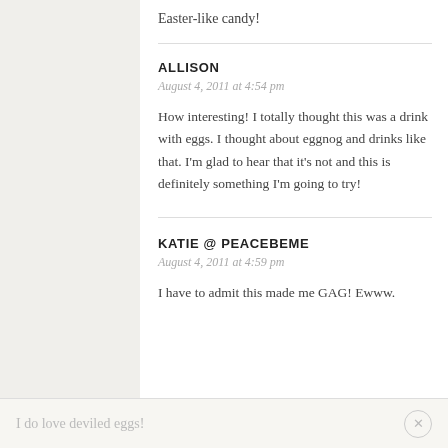Easter-like candy!
ALLISON
August 4, 2011 at 4:54 pm
How interesting! I totally thought this was a drink with eggs. I thought about eggnog and drinks like that. I'm glad to hear that it's not and this is definitely something I'm going to try!
KATIE @ PEACEBEME
August 4, 2011 at 4:59 pm
I have to admit this made me GAG! Ewww.
I do love deviled eggs!